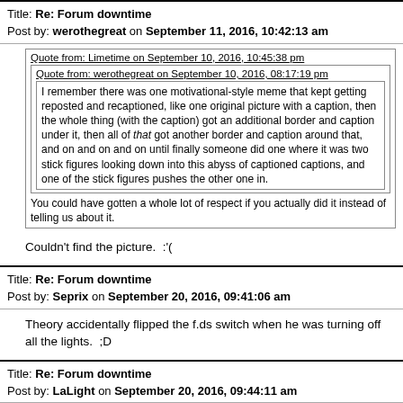Title: Re: Forum downtime
Post by: werothegreat on September 11, 2016, 10:42:13 am
Quote from: Limetime on September 10, 2016, 10:45:38 pm
Quote from: werothegreat on September 10, 2016, 08:17:19 pm
I remember there was one motivational-style meme that kept getting reposted and recaptioned, like one original picture with a caption, then the whole thing (with the caption) got an additional border and caption under it, then all of that got another border and caption around that, and on and on and on until finally someone did one where it was two stick figures looking down into this abyss of captioned captions, and one of the stick figures pushes the other one in.
You could have gotten a whole lot of respect if you actually did it instead of telling us about it.
Couldn't find the picture.  :'(
Title: Re: Forum downtime
Post by: Seprix on September 20, 2016, 09:41:06 am
Theory accidentally flipped the f.ds switch when he was turning off all the lights.  ;D
Title: Re: Forum downtime
Post by: LaLight on September 20, 2016, 09:44:11 am
Quote from: McGarnacle on September 10, 2016, 01:23:18 pm
Quote from: Seprix on September 10, 2016, 01:17:46 pm
Quote from: ...